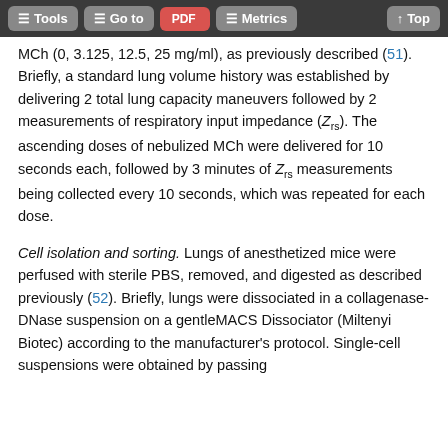Tools | Go to | PDF | Metrics | Top
MCh (0, 3.125, 12.5, 25 mg/ml), as previously described (51). Briefly, a standard lung volume history was established by delivering 2 total lung capacity maneuvers followed by 2 measurements of respiratory input impedance (Zrs). The ascending doses of nebulized MCh were delivered for 10 seconds each, followed by 3 minutes of Zrs measurements being collected every 10 seconds, which was repeated for each dose.
Cell isolation and sorting. Lungs of anesthetized mice were perfused with sterile PBS, removed, and digested as described previously (52). Briefly, lungs were dissociated in a collagenase-DNase suspension on a gentleMACS Dissociator (Miltenyi Biotec) according to the manufacturer's protocol. Single-cell suspensions were obtained by passing